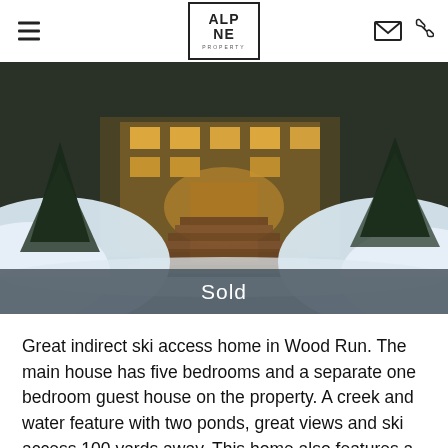Alpine Property
[Figure (photo): Exterior photo of a snowy ski home at night with warm interior lights visible, wooden stairs leading up to the entrance surrounded by large snow drifts and pine trees. A dark semi-transparent 'Sold' banner overlays the bottom of the image.]
Great indirect ski access home in Wood Run. The main house has five bedrooms and a separate one bedroom guest house on the property. A creek and water feature with two ponds, great views and ski access 100 yards away. This home also features a private outdoor hot-tub, a large gourmet kitchen, and